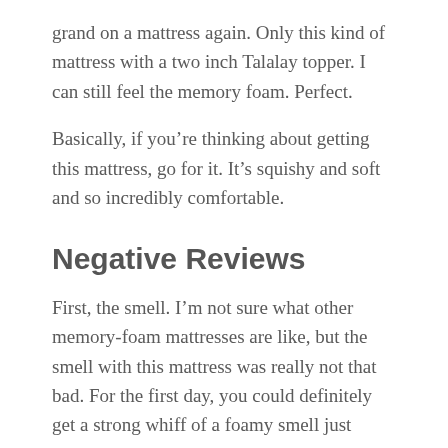grand on a mattress again. Only this kind of mattress with a two inch Talalay topper. I can still feel the memory foam. Perfect.
Basically, if you're thinking about getting this mattress, go for it. It's squishy and soft and so incredibly comfortable.
Negative Reviews
First, the smell. I'm not sure what other memory-foam mattresses are like, but the smell with this mattress was really not that bad. For the first day, you could definitely get a strong whiff of a foamy smell just when entering the bedroom where it was set up.